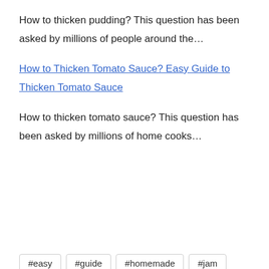How to thicken pudding? This question has been asked by millions of people around the…
How to Thicken Tomato Sauce? Easy Guide to Thicken Tomato Sauce
How to thicken tomato sauce? This question has been asked by millions of home cooks…
#easy
#guide
#homemade
#jam